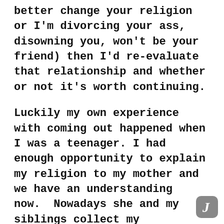better change your religion or I'm divorcing your ass, disowning you, won't be your friend) then I'd re-evaluate that relationship and whether or not it's worth continuing.
Luckily my own experience with coming out happened when I was a teenager. I had enough opportunity to explain my religion to my mother and we have an understanding now.  Nowadays she and my siblings collect my Demonolatry books right alongside my fiction even though they're all happily Christian or Agnostic.
It's certain members of the extended family who have chosen to pray for me and hope my atheist husband and I eventually find God.
Sadly a lot of Christians just don't understand that